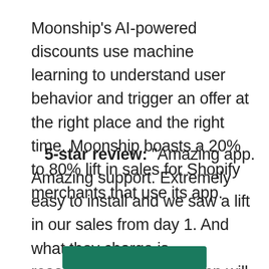Moonship's AI-powered discounts use machine learning to understand user behavior and trigger an offer at the right place and the right time. Moonship boasts a 20% to 80% lift in sales for Shopify merchants that use its app.
5-star review: “Amazing app. Amazing support. Extremely easy to install and we saw a lift in our sales from day 1. And what they charge is reasonable. I think this app will really take off—so I’m pleased we got in early.” — OmieLife
[Figure (other): Green button partially visible at bottom of page]